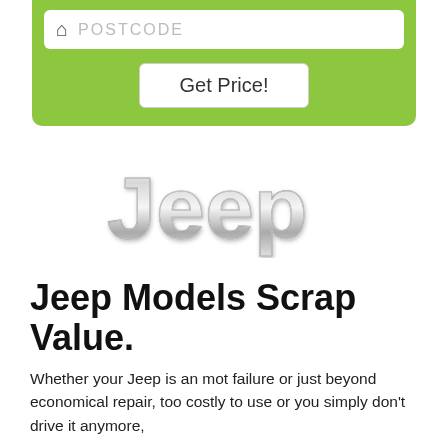[Figure (screenshot): Green form widget with a white postcode input field showing placeholder text 'POSTCODE' with a home icon, and a 'Get Price!' button below.]
[Figure (logo): Jeep brand logo rendered in chrome/silver metallic 3D lettering style.]
Jeep Models Scrap Value.
Whether your Jeep is an mot failure or just beyond economical repair, too costly to use or you simply don't drive it anymore,